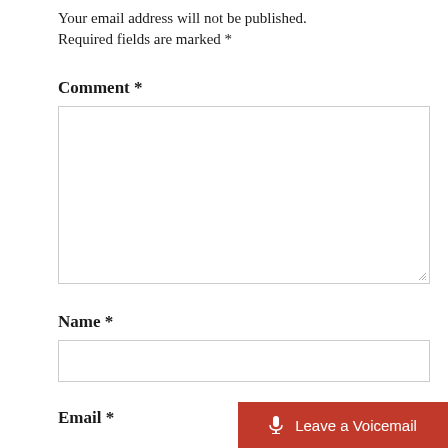Your email address will not be published.
Required fields are marked *
Comment *
[Figure (other): Empty textarea input box with resize handle in bottom right corner]
Name *
[Figure (other): Empty single-line text input box]
Email *
[Figure (other): Red button with microphone icon labeled Leave a Voicemail]